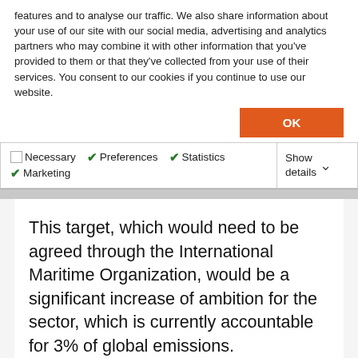features and to analyse our traffic. We also share information about your use of our site with our social media, advertising and analytics partners who may combine it with other information that you've provided to them or that they've collected from your use of their services. You consent to our cookies if you continue to use our website.
OK
Necessary  Preferences  Statistics  Marketing  Show details
This target, which would need to be agreed through the International Maritime Organization, would be a significant increase of ambition for the sector, which is currently accountable for 3% of global emissions.
This announcement comes as the government launches the greenest ever London International Shipping Week, building on a